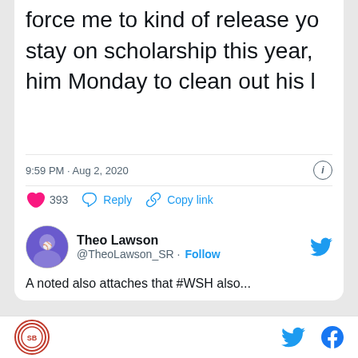force me to kind of release yo stay on scholarship this year, him Monday to clean out his l
9:59 PM · Aug 2, 2020
393  Reply  Copy link
Read 51 replies
Theo Lawson @TheoLawson_SR · Follow
A noted also attaches that #WSH also ...